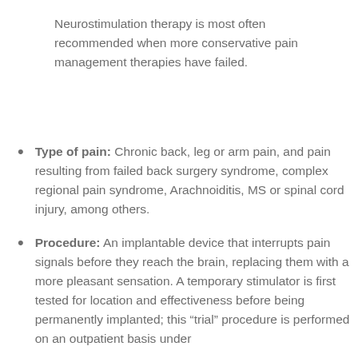Neurostimulation therapy is most often recommended when more conservative pain management therapies have failed.
Type of pain: Chronic back, leg or arm pain, and pain resulting from failed back surgery syndrome, complex regional pain syndrome, Arachnoiditis, MS or spinal cord injury, among others.
Procedure: An implantable device that interrupts pain signals before they reach the brain, replacing them with a more pleasant sensation. A temporary stimulator is first tested for location and effectiveness before being permanently implanted; this “trial” procedure is performed on an outpatient basis under